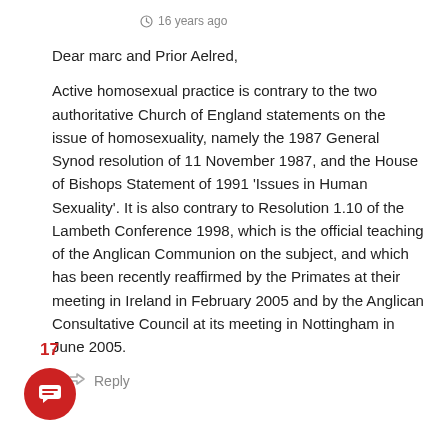16 years ago
Dear marc and Prior Aelred,

Active homosexual practice is contrary to the two authoritative Church of England statements on the issue of homosexuality, namely the 1987 General Synod resolution of 11 November 1987, and the House of Bishops Statement of 1991 'Issues in Human Sexuality'. It is also contrary to Resolution 1.10 of the Lambeth Conference 1998, which is the official teaching of the Anglican Communion on the subject, and which has been recently reaffirmed by the Primates at their meeting in Ireland in February 2005 and by the Anglican Consultative Council at its meeting in Nottingham in June 2005.
Reply
17